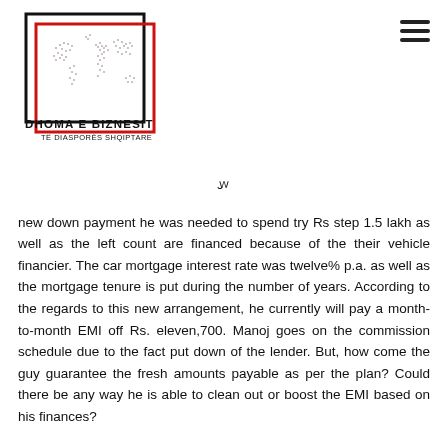[Figure (logo): Dhoma e Biznesit të Diasporës Shqiptare logo — world map made of dots inside a black and red square border, with text DHOMA E BIZNESIT and TË DIASPORËS SHQIPTARE]
new down payment he was needed to spend try Rs step 1.5 lakh as well as the left count are financed because of the their vehicle financier. The car mortgage interest rate was twelve% p.a. as well as the mortgage tenure is put during the number of years. According to the regards to this new arrangement, he currently will pay a month-to-month EMI off Rs. eleven,700. Manoj goes on the commission schedule due to the fact put down of the lender. But, how come the guy guarantee the fresh amounts payable as per the plan? Could there be any way he is able to clean out or boost the EMI based on his finances?
Figuring EMIs can be confusing and boring. There are numerous consumers just who find it difficult to see EMI calculations and